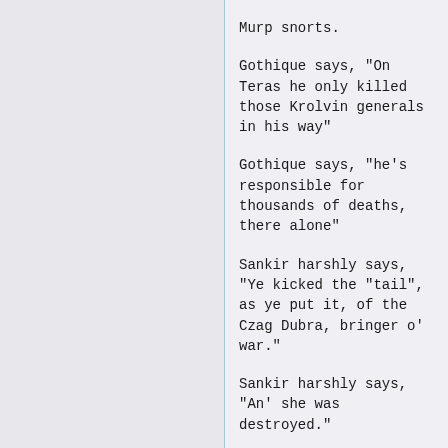Murp snorts.
Gothique says, "On Teras he only killed those Krolvin generals in his way"
Gothique says, "he's responsible for thousands of deaths, there alone"
Sankir harshly says, "Ye kicked the "tail", as ye put it, of the Czag Dubra, bringer o' war."
Sankir harshly says, "An' she was destroyed."